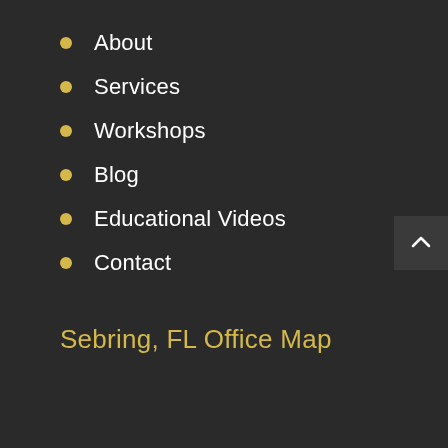About
Services
Workshops
Blog
Educational Videos
Contact
Sebring, FL Office Map